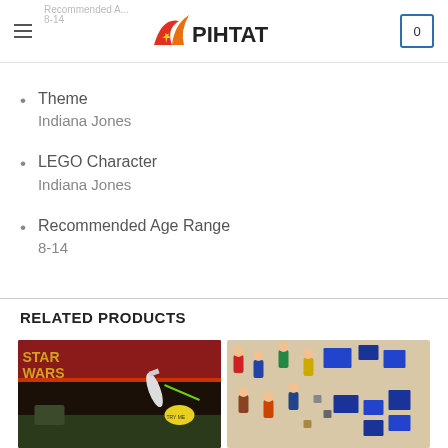PIHTAT — navigation header with menu icon, logo, and cart
Theme — Indiana Jones
LEGO Character — Indiana Jones
Recommended Age Range — 8-14
RELATED PRODUCTS
[Figure (photo): Star Wars LEGO set box art photo]
[Figure (photo): LEGO minifigures and accessories laid out on a surface]